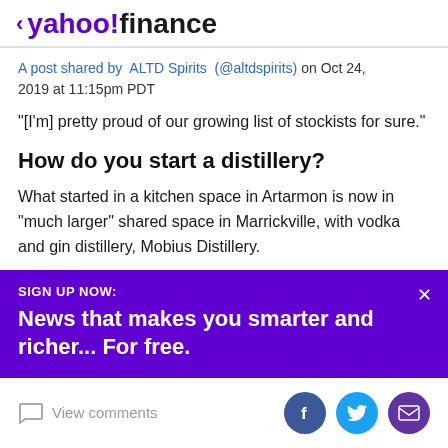< yahoo!finance
A post shared by  ALTD Spirits  (@altdspirits) on Oct 24, 2019 at 11:15pm PDT
“[I’m] pretty proud of our growing list of stockists for sure.”
How do you start a distillery?
What started in a kitchen space in Artarmon is now in “much larger” shared space in Marrickville, with vodka and gin distillery, Mobius Distillery.
SIGN UP NOW:
News that makes you smarter and richer... For free.
View comments